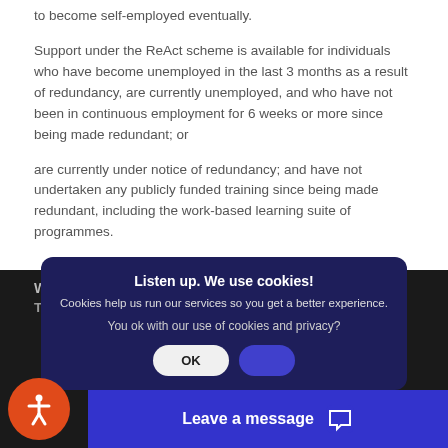to become self-employed eventually.
Support under the ReAct scheme is available for individuals who have become unemployed in the last 3 months as a result of redundancy, are currently unemployed, and who have not been in continuous employment for 6 weeks or more since being made redundant; or
are currently under notice of redundancy; and have not undertaken any publicly funded training since being made redundant, including the work-based learning suite of programmes.
What is available?
There are 3 elements to ReAct:
Recruitment & Training Support
Discretionary Award
Discretionary Award